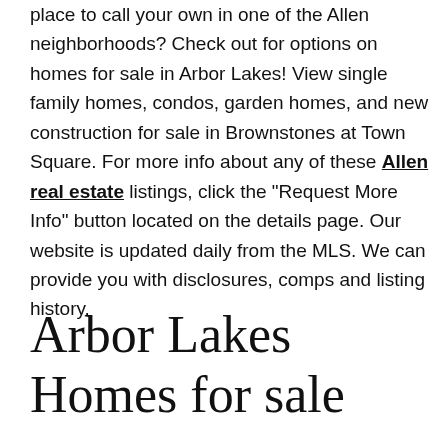place to call your own in one of the Allen neighborhoods? Check out for options on homes for sale in Arbor Lakes! View single family homes, condos, garden homes, and new construction for sale in Brownstones at Town Square. For more info about any of these Allen real estate listings, click the "Request More Info" button located on the details page. Our website is updated daily from the MLS. We can provide you with disclosures, comps and listing history.
Arbor Lakes Homes for sale